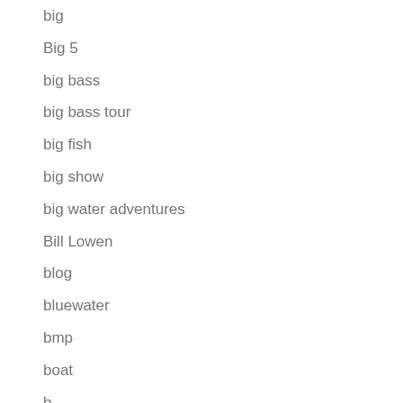big
Big 5
big bass
big bass tour
big fish
big show
big water adventures
Bill Lowen
blog
bluewater
bmp
boat
b…